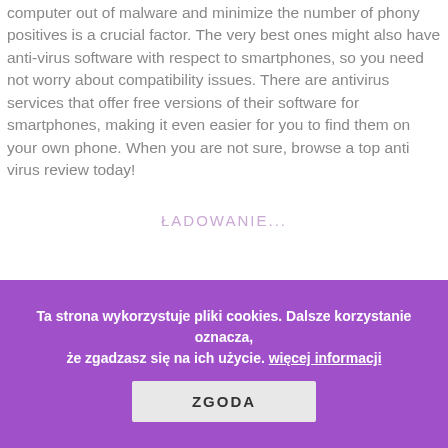An antivirus security software that can safeguard your computer out of malware and minimize the number of phony positives is a crucial factor. The very best ones might also have anti-virus software with respect to smartphones, so you need not worry about compatibility issues. There are antivirus services that offer free versions of their software for smartphones, making it even easier for you to find them on your own phone. When you are not sure, browse a top anti virus review today!
ŁADOWANIE...
TOP FIVE LGTB DATING APPS IN MY AREA
CHAT ROOM FOR SENIORS –
Ta strona wykorzystuje pliki cookies. Dalsze korzystanie oznacza, że zgadzasz się na ich użycie. więcej informacji
ZGODA